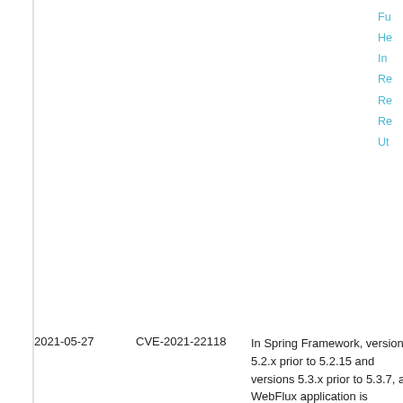Fu He In Re Re Re Ut
| Date | CVE | Description | Links |
| --- | --- | --- | --- |
| 2021-05-27 | CVE-2021-22118 | In Spring Framework, versions 5.2.x prior to 5.2.15 and versions 5.3.x prior to 5.3.7, a WebFlux application is vulnerable to a privilege escalation: by (re)creating the temporary storage directory, a locally authenticated malicious user can read or modify files that have been uploaded to the WebFlux application, or | Ho Co _e Co Co Co Co Co Co Co Co Co Co Co Co |